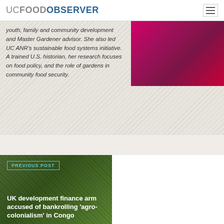UC FOOD OBSERVER
youth, family and community development and Master Gardener advisor. She also led UC ANR's sustainable food systems initiative. A trained U.S. historian, her research focuses on food policy, and the role of gardens in community food security.
[Figure (photo): Photo of a person in a pink/magenta top]
PREVIOUS POST
UK development finance arm accused of bankrolling 'agro-colonialism' in Congo
[Figure (photo): Background photo with cattle in a green field]
NEXT POST
Labels matter: students develop new food products in Iowa State food course
[Figure (photo): Background photo with dark brown diagonal pattern]